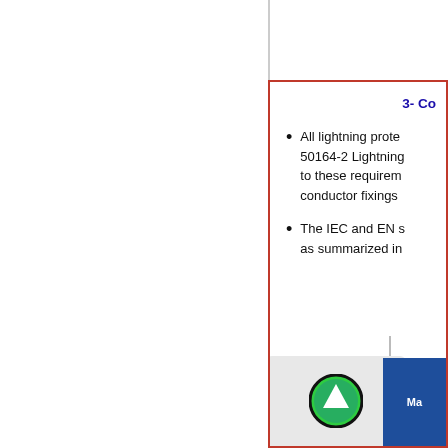3- Co
All lightning prote 50164-2 Lightning to these requirem conductor fixings
The IEC and EN s as summarized in
[Figure (screenshot): UI overlay showing a green upward arrow button on a light grey rounded box, and a dark blue panel with text 'Ma' visible, and a diagonal grey line accent above]